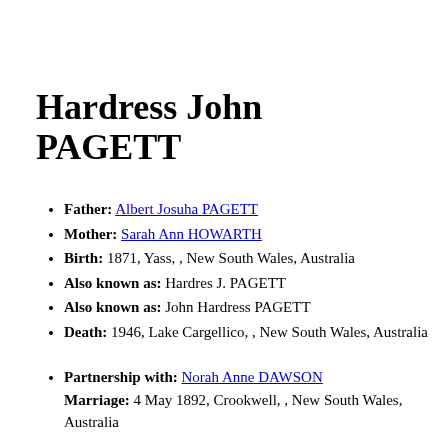Hardress John PAGETT
Father: Albert Josuha PAGETT
Mother: Sarah Ann HOWARTH
Birth: 1871, Yass, , New South Wales, Australia
Also known as: Hardres J. PAGETT
Also known as: John Hardress PAGETT
Death: 1946, Lake Cargellico, , New South Wales, Australia
Partnership with: Norah Anne DAWSON
Marriage: 4 May 1892, Crookwell, , New South Wales, Australia